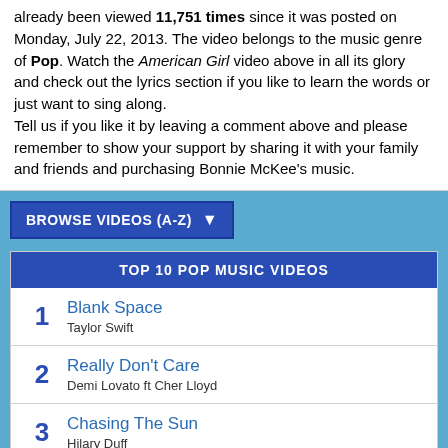already been viewed 11,751 times since it was posted on Monday, July 22, 2013. The video belongs to the music genre of Pop. Watch the American Girl video above in all its glory and check out the lyrics section if you like to learn the words or just want to sing along.
Tell us if you like it by leaving a comment above and please remember to show your support by sharing it with your family and friends and purchasing Bonnie McKee's music.
BROWSE VIDEOS (A-Z)
| Rank | Title | Artist |
| --- | --- | --- |
| 1 | Blank Space | Taylor Swift |
| 2 | Really Don't Care | Demi Lovato ft Cher Lloyd |
| 3 | Chasing The Sun | Hilary Duff |
| 4 | Love Me Harder | Ariana Grande ft The Weeknd |
| 5 | All About You |  |